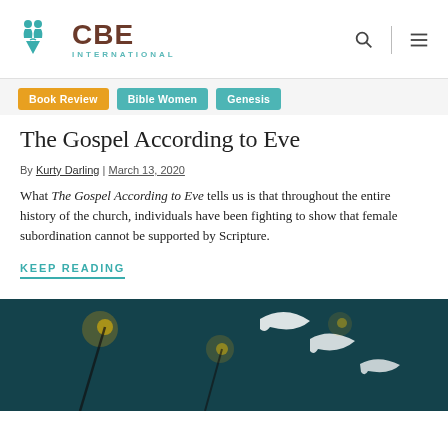CBE International
Book Review
Bible Women
Genesis
The Gospel According to Eve
By Kurty Darling | March 13, 2020
What The Gospel According to Eve tells us is that throughout the entire history of the church, individuals have been fighting to show that female subordination cannot be supported by Scripture.
KEEP READING
[Figure (photo): Dark teal background photo with out-of-focus light bokeh and white decorative shapes/letters, likely a night street scene]